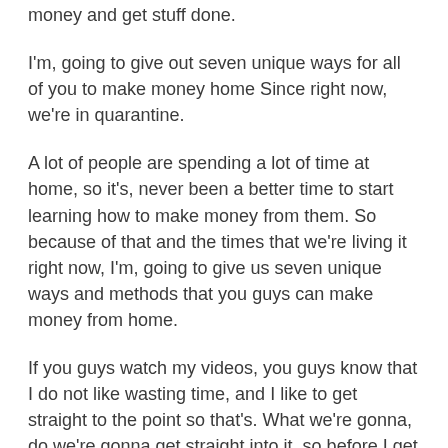money and get stuff done.
I'm, going to give out seven unique ways for all of you to make money home Since right now, we're in quarantine.
A lot of people are spending a lot of time at home, so it's, never been a better time to start learning how to make money from them. So because of that and the times that we're living it right now, I'm, going to give us seven unique ways and methods that you guys can make money from home.
If you guys watch my videos, you guys know that I do not like wasting time, and I like to get straight to the point so that's. What we're gonna, do we're gonna get straight into it, so before I get into it, I do want to say that each of these seven businesses and I'm not to go over.